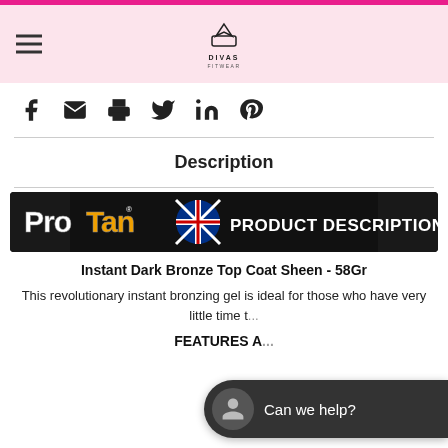Divas Fitwear logo and navigation header
[Figure (logo): Divas Fitwear crown logo with brand name]
[Figure (other): Social media share icons: Facebook, Email, Print, Twitter, LinkedIn, Pinterest]
Description
[Figure (other): ProTan product description banner with UK flag]
Instant Dark Bronze Top Coat Sheen - 58Gr
This revolutionary instant bronzing gel is ideal for those who have very little time t...
FEATURES A...
[Figure (other): Can we help? chat support button with avatar icon]